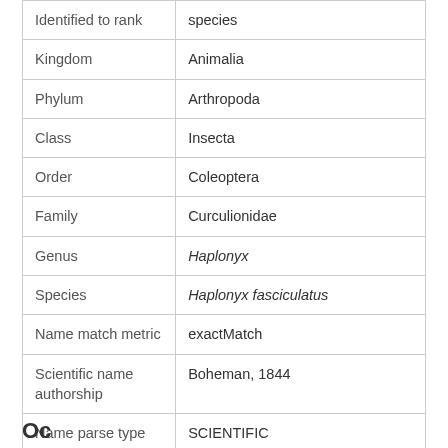| Identified to rank | species |
| Kingdom | Animalia |
| Phylum | Arthropoda |
| Class | Insecta |
| Order | Coleoptera |
| Family | Curculionidae |
| Genus | Haplonyx |
| Species | Haplonyx fasciculatus |
| Name match metric | exactMatch |
| Scientific name authorship | Boheman, 1844 |
| Name parse type | SCIENTIFIC |
| Nomenclatural code | ICZN |
Oc...